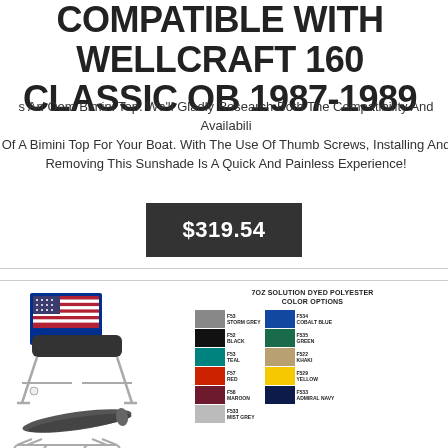COMPATIBLE WITH WELLCRAFT 160 CLASSIC OB 1987-1989
Is An Oem Bimini Top. We'll Gladly Research Both The Compatibility And Availability Of A Bimini Top For Your Boat. With The Use Of Thumb Screws, Installing And Removing This Sunshade Is A Quick And Painless Experience!
$319.54
[Figure (photo): Product image showing a bimini top, folded bimini, and frame/hardware with color swatches panel labeled '7OZ SOLUTION DYED POLYESTER COLOR OPTIONS' showing colors: Storm Grey, Black, Teal, Red, Maroon, Mist Grey, Cobalt Blue, Green, Khaki, Yellow, Admiral Navy. Made in USA badge shown.]